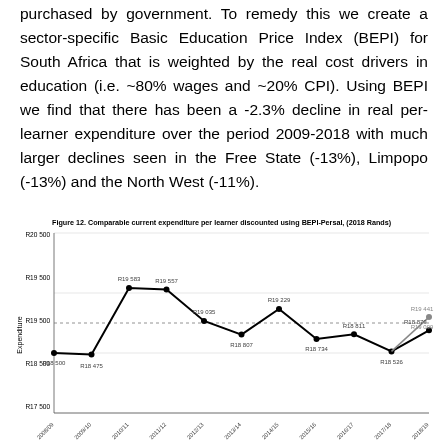purchased by government. To remedy this we create a sector-specific Basic Education Price Index (BEPI) for South Africa that is weighted by the real cost drivers in education (i.e. ~80% wages and ~20% CPI). Using BEPI we find that there has been a -2.3% decline in real per-learner expenditure over the period 2009-2018 with much larger declines seen in the Free State (-13%), Limpopo (-13%) and the North West (-11%).
[Figure (line-chart): Figure 12. Comparable current expenditure per learner discounted using BEPI-Persal, (2018 Rands)]